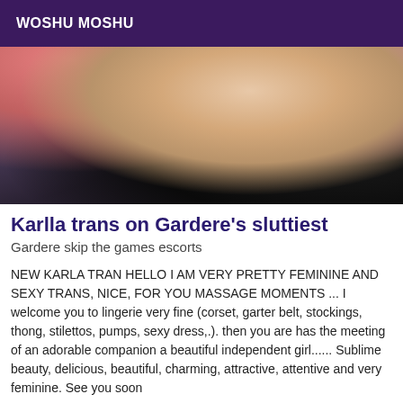WOSHU MOSHU
[Figure (photo): Close-up photo of a person in black lingerie stockings and heels on a pink bed]
Karlla trans on Gardere's sluttiest
Gardere skip the games escorts
NEW KARLA TRAN HELLO I AM VERY PRETTY FEMININE AND SEXY TRANS, NICE, FOR YOU MASSAGE MOMENTS ... I welcome you to lingerie very fine (corset, garter belt, stockings, thong, stilettos, pumps, sexy dress,.). then you are has the meeting of an adorable companion a beautiful independent girl...... Sublime beauty, delicious, beautiful, charming, attractive, attentive and very feminine. See you soon